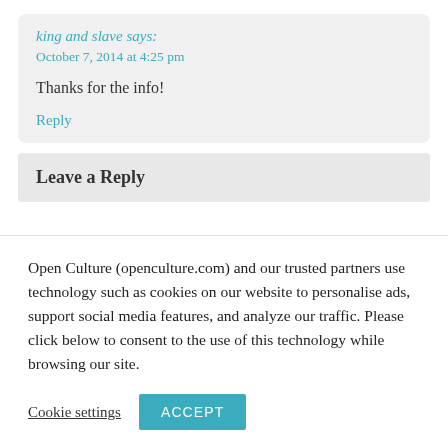king and slave says:
October 7, 2014 at 4:25 pm
Thanks for the info!
Reply
Leave a Reply
Open Culture (openculture.com) and our trusted partners use technology such as cookies on our website to personalise ads, support social media features, and analyze our traffic. Please click below to consent to the use of this technology while browsing our site.
Cookie settings
ACCEPT